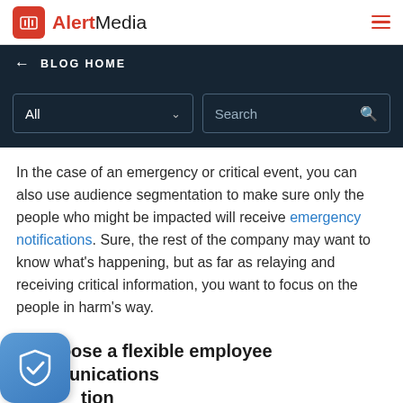AlertMedia
← BLOG HOME
In the case of an emergency or critical event, you can also use audience segmentation to make sure only the people who might be impacted will receive emergency notifications. Sure, the rest of the company may want to know what's happening, but as far as relaying and receiving critical information, you want to focus on the people in harm's way.
2. Choose a flexible employee communications tion